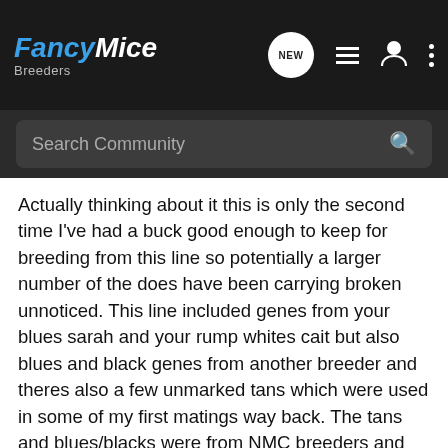FancyMice Breeders — navigation bar with logo, NEW button, list icon, user icon, menu icon
Search Community
Actually thinking about it this is only the second time I've had a buck good enough to keep for breeding from this line so potentially a larger number of the does have been carrying broken unnoticed. This line included genes from your blues sarah and your rump whites cait but also blues and black genes from another breeder and theres also a few unmarked tans which were used in some of my first matings way back. The tans and blues/blacks were from NMC breeders and they were meant to be from show lines so I'd have to asssme they were not carrying broken either but it would appear that the route of it comes from one of the mice. I can't imagine where else it would have cropped up.
I think I read that the rump white gene was created by using radioactivity in a lab, im asusming the base gene would have been...